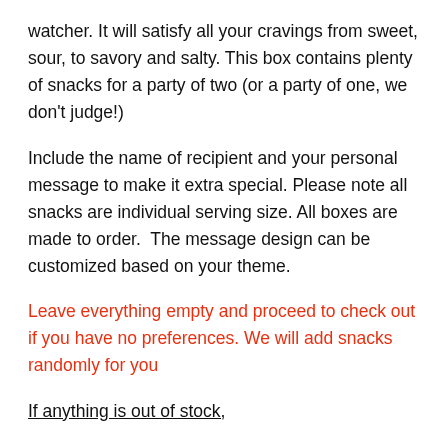watcher. It will satisfy all your cravings from sweet, sour, to savory and salty. This box contains plenty of snacks for a party of two (or a party of one, we don't judge!)
Include the name of recipient and your personal message to make it extra special. Please note all snacks are individual serving size. All boxes are made to order.  The message design can be customized based on your theme.
Leave everything empty and proceed to check out if you have no preferences. We will add snacks randomly for you
If anything is out of stock,